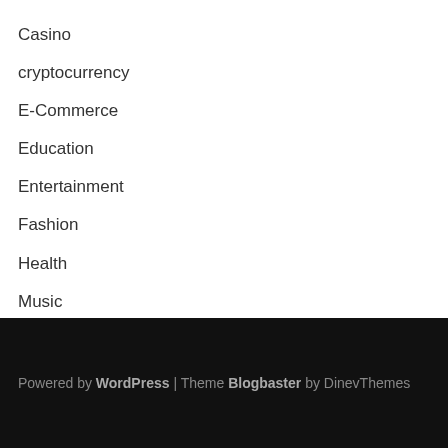Casino
cryptocurrency
E-Commerce
Education
Entertainment
Fashion
Health
Music
Slots
Technology
Powered by WordPress | Theme Blogbaster by DinevThemes